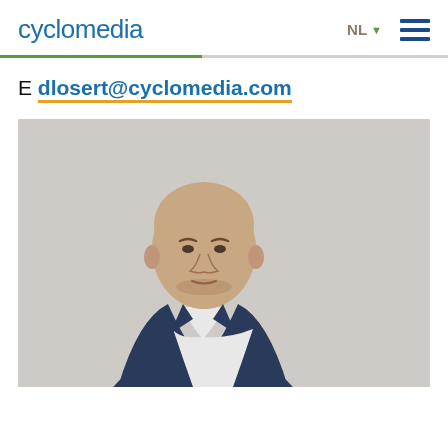cyclomedia
E dlosert@cyclomedia.com
[Figure (photo): Professional headshot of a bald man in a dark navy blazer and white shirt, standing against a light grey background, looking at camera with a neutral expression.]